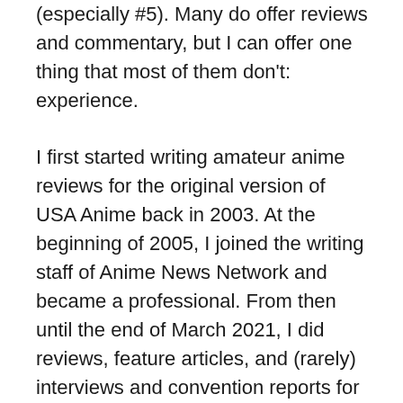(especially #5). Many do offer reviews and commentary, but I can offer one thing that most of them don't: experience.

I first started writing amateur anime reviews for the original version of USA Anime back in 2003. At the beginning of 2005, I joined the writing staff of Anime News Network and became a professional. From then until the end of March 2021, I did reviews, feature articles, and (rarely) interviews and convention reports for the site, as well as regularly contributing to seasonal features like the Preview Guide and “Best of Season/Year.” In all, more than 3,000 written pieces on the site have my byline; you can see an example of one of my most recent feature pieces here and my last full-length review for the site here. So you can